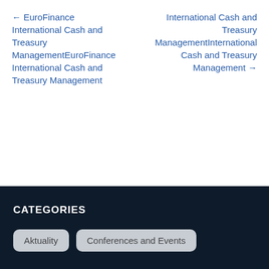← EuroFinance International Cash and Treasury ManagementEuroFinance International Cash and Treasury Management
International Cash and Treasury ManagementInternational Cash and Treasury Management →
CATEGORIES
Aktuality
Conferences and Events
Na tejto stránke používame cookies pre váš lepší zážitok z prezerania stránky.
Ok
Zásady ochrany osobných údajov